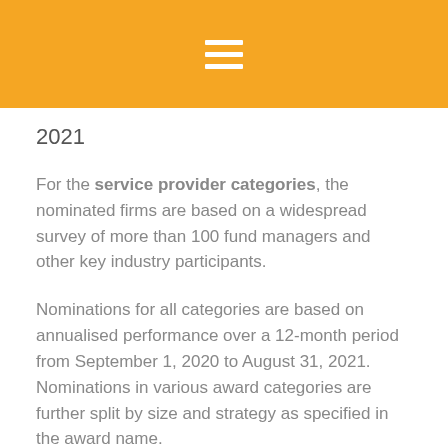[Figure (other): Orange header bar with white hamburger menu icon (three horizontal lines)]
2021
For the service provider categories, the nominated firms are based on a widespread survey of more than 100 fund managers and other key industry participants.
Nominations for all categories are based on annualised performance over a 12-month period from September 1, 2020 to August 31, 2021. Nominations in various award categories are further split by size and strategy as specified in the award name.